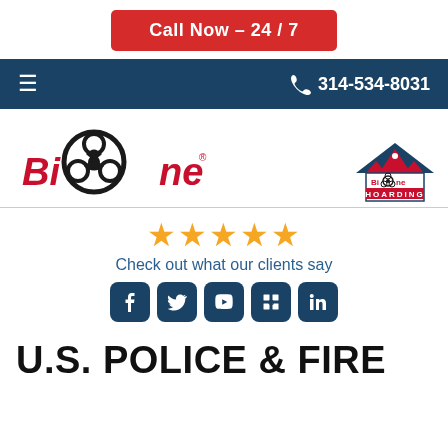[Figure (other): Red 'Call Now - 24/7' button at top of page]
[Figure (other): Dark blue navigation bar with hamburger menu icon on left and phone number 314-534-8031 on right]
[Figure (logo): Bio-One logo with biohazard symbol and red italic text, and Bio-One Hoarding logo top right]
[Figure (other): Five gold stars rating with text 'Check out what our clients say' and social media icons (Facebook, Twitter, YouTube, Google, LinkedIn)]
U.S. POLICE & FIRE